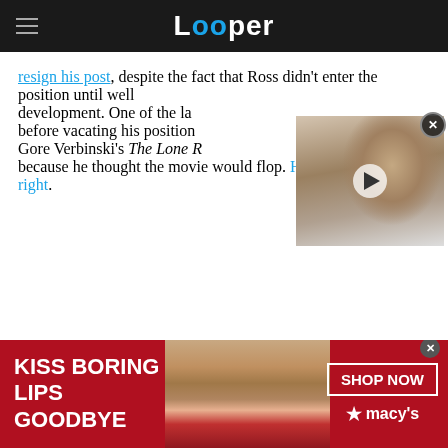Looper
resign his post, despite the fact that Ross didn't enter the position until well development. One of the la before vacating his position Gore Verbinski's The Lone R because he thought the movie would flop. He was right.
[Figure (screenshot): Video thumbnail showing an elderly man with long white beard and hair, with a play button overlay]
[Figure (infographic): Macy's advertisement banner. Text reads: KISS BORING LIPS GOODBYE. SHOP NOW. Macy's logo with star. Background is red with a woman's face showing red lips.]